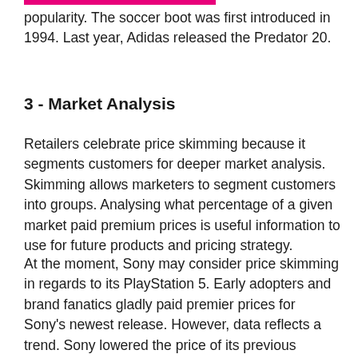popularity. The soccer boot was first introduced in 1994. Last year, Adidas released the Predator 20.
3 - Market Analysis
Retailers celebrate price skimming because it segments customers for deeper market analysis. Skimming allows marketers to segment customers into groups. Analysing what percentage of a given market paid premium prices is useful information to use for future products and pricing strategy.
At the moment, Sony may consider price skimming in regards to its PlayStation 5. Early adopters and brand fanatics gladly paid premier prices for Sony's newest release. However, data reflects a trend. Sony lowered the price of its previous PlayStation products over